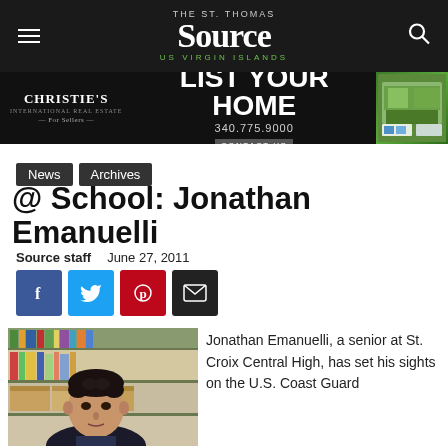THE St. Thomas Source US VIRGIN ISLANDS
[Figure (other): Christie's International Real Estate advertisement: LIST YOUR HOME, 340.775.9000, CONTACT US, with property photo]
News   Archives
@ School: Jonathan Emanuelli
Source staff   June 27, 2011
[Figure (other): Social sharing buttons: Facebook, Twitter, Pinterest, Email]
[Figure (photo): Photo of Jonathan Emanuelli, a young man with dark curly hair, standing in front of a library bookshelf]
Jonathan Emanuelli, a senior at St. Croix Central High, has set his sights on the U.S. Coast Guard